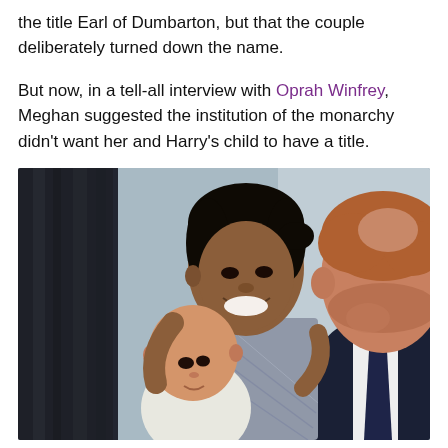the title Earl of Dumbarton, but that the couple deliberately turned down the name.
But now, in a tell-all interview with Oprah Winfrey, Meghan suggested the institution of the monarchy didn't want her and Harry's child to have a title.
[Figure (photo): Photo of Meghan Markle holding baby Archie while Prince Harry looks on, taken during their Africa tour]